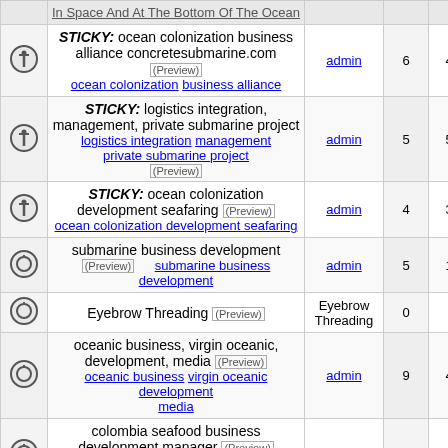|  | Topic | Author | Replies | Views |  |
| --- | --- | --- | --- | --- | --- |
| [icon] | In Space And At The Bottom Of The Ocean |  |  |  |  |
| [sticky-icon] | STICKY: ocean colonization business alliance concretesubmarine.com (Preview) ocean colonization business alliance | admin | 6 | 4129 |  |
| [sticky-icon] | STICKY: logistics integration, management, private submarine project logistics integration management private submarine project (Preview) | admin | 5 | 5052 |  |
| [sticky-icon] | STICKY: ocean colonization development seafaring (Preview) ocean colonization development seafaring | admin | 4 | 3958 |  |
| [normal-icon] | submarine business development (Preview) submarine business development | admin | 5 | 1751 |  |
| [normal-icon] | Eyebrow Threading (Preview) | Eyebrow Threading | 0 | 37 |  |
| [normal-icon] | oceanic business, virgin oceanic, development, media (Preview) oceanic business virgin oceanic development media | admin | 9 | 4160 |  |
| [normal-icon] | colombia seafood business development manager (Preview) colombia seafood business development manager | admin | 8 | 3542 |  |
| [normal-icon] | ocean colonization real estate development (Preview) ocean colonization real estate development | admin | 5 | 1999 |  |